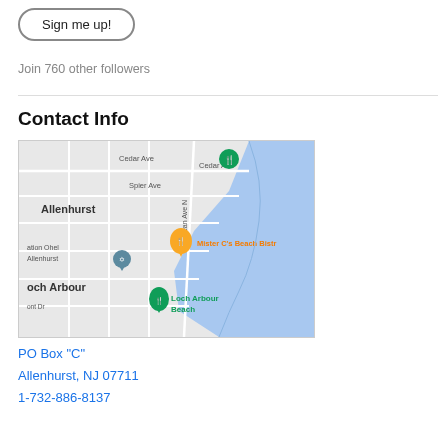Sign me up!
Join 760 other followers
Contact Info
[Figure (map): Google Maps screenshot showing Allenhurst and Loch Arbour area in New Jersey, with pins for Mister C's Beach Bistro and Loch Arbour Beach, along Ocean Ave N.]
PO Box "C"
Allenhurst, NJ 07711
1-732-886-8137